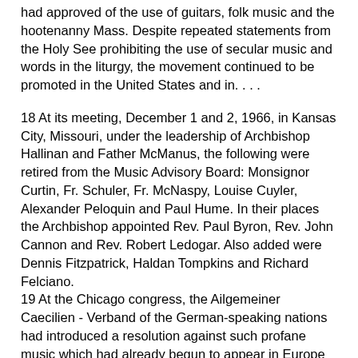had approved of the use of guitars, folk music and the hootenanny Mass. Despite repeated statements from the Holy See prohibiting the use of secular music and words in the liturgy, the movement continued to be promoted in the United States and in. . . .
18 At its meeting, December 1 and 2, 1966, in Kansas City, Missouri, under the leadership of Archbishop Hallinan and Father McManus, the following were retired from the Music Advisory Board: Monsignor Curtin, Fr. Schuler, Fr. McNaspy, Louise Cuyler, Alexander Peloquin and Paul Hume. In their places the Archbishop appointed Rev. Paul Byron, Rev. John Cannon and Rev. Robert Ledogar. Also added were Dennis Fitzpatrick, Haldan Tompkins and Richard Felciano.
19 At the Chicago congress, the Ailgemeiner Caecilien - Verband of the German-speaking nations had introduced a resolution against such profane music which had already begun to appear in Europe (See Sacred Music and Liturgy Reform after Vatican II, p. 182-185); news reports from Europe, including the city of Rome, report the use of beat music, youth combos and folk music; the reaction from the